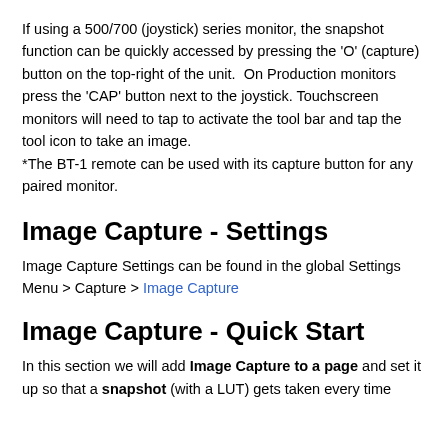If using a 500/700 (joystick) series monitor, the snapshot function can be quickly accessed by pressing the 'O' (capture) button on the top-right of the unit.  On Production monitors press the 'CAP' button next to the joystick. Touchscreen monitors will need to tap to activate the tool bar and tap the tool icon to take an image.
*The BT-1 remote can be used with its capture button for any paired monitor.
Image Capture - Settings
Image Capture Settings can be found in the global Settings Menu > Capture > Image Capture
Image Capture - Quick Start
In this section we will add Image Capture to a page and set it up so that a snapshot (with a LUT) gets taken every time